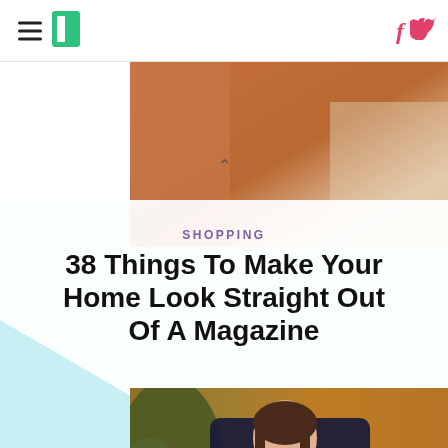HuffPost navigation header with hamburger menu, logo, Facebook and Twitter icons
[Figure (photo): Partial cropped image at top showing warm orange/terracotta tones, appearing to be a previous article image]
SHOPPING
38 Things To Make Your Home Look Straight Out Of A Magazine
[Figure (photo): Woman wearing a dark navy floral print dress/top with large white flower pattern, standing outdoors with wooden fence and greenery in background]